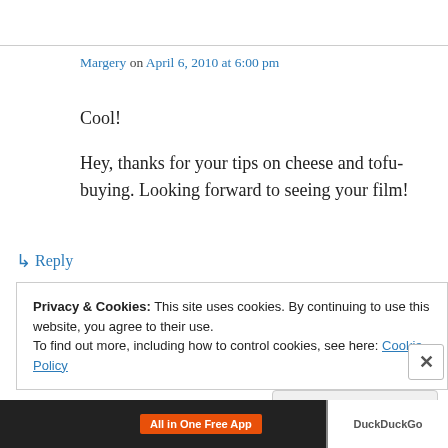Margery on April 6, 2010 at 6:00 pm
Cool!

Hey, thanks for your tips on cheese and tofu-buying. Looking forward to seeing your film!
↳ Reply
Privacy & Cookies: This site uses cookies. By continuing to use this website, you agree to their use.
To find out more, including how to control cookies, see here: Cookie Policy